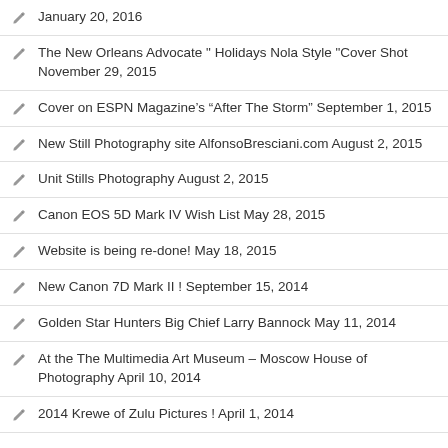January 20, 2016
The New Orleans Advocate " Holidays Nola Style "Cover Shot November 29, 2015
Cover on ESPN Magazine’s “After The Storm” September 1, 2015
New Still Photography site AlfonsoBresciani.com August 2, 2015
Unit Stills Photography August 2, 2015
Canon EOS 5D Mark IV Wish List May 28, 2015
Website is being re-done! May 18, 2015
New Canon 7D Mark II ! September 15, 2014
Golden Star Hunters Big Chief Larry Bannock May 11, 2014
At the The Multimedia Art Museum – Moscow House of Photography April 10, 2014
2014 Krewe of Zulu Pictures ! April 1, 2014